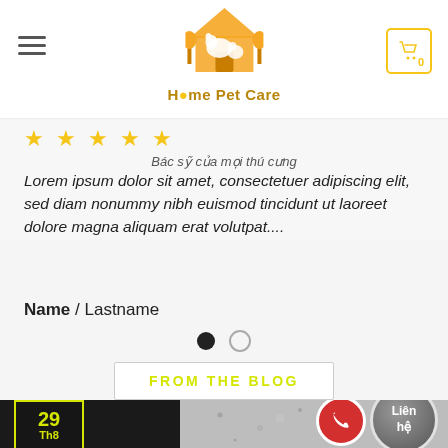[Figure (logo): Home Pet Care logo with dog and cat under a roof, orange/yellow color scheme]
★★★★★
Bác sỹ của mọi thú cưng
Lorem ipsum dolor sit amet, consectetuer adipiscing elit, sed diam nonummy nibh euismod tincidunt ut laoreet dolore magna aliquam erat volutpat....
Name / Lastname
FROM THE BLOG
29 Th8
[Figure (photo): Blog post image showing a dark animal silhouette against a light stone-textured background, with phone and contact buttons overlaid]